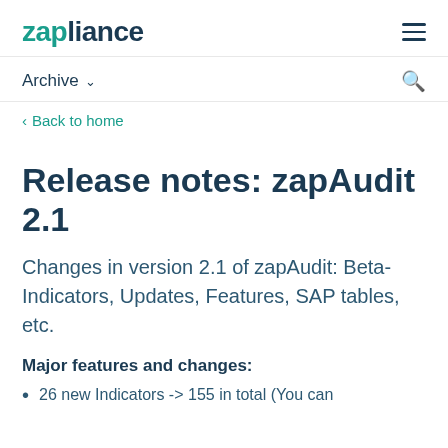zapliance
Archive
Back to home
Release notes: zapAudit 2.1
Changes in version 2.1 of zapAudit: Beta-Indicators, Updates, Features, SAP tables, etc.
Major features and changes:
26 new Indicators -> 155 in total (You can